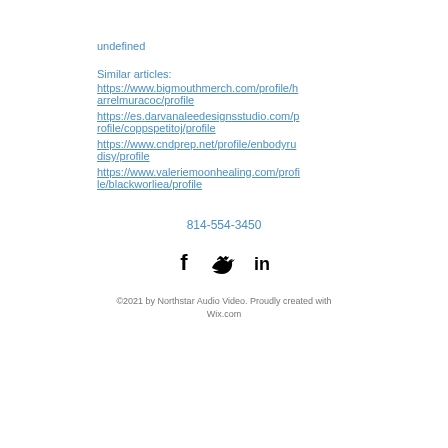undefined
Similar articles:
https://www.bigmouthmerch.com/profile/harrelmuracoc/profile
https://es.darvanaleedesignsstudio.com/profile/coppspetitoj/profile
https://www.cndprep.net/profile/enbodyrudisy/profile
https://www.valeriemoonhealing.com/profile/blackworliea/profile
814-554-3450
©2021 by Northstar Audio Video. Proudly created with Wix.com